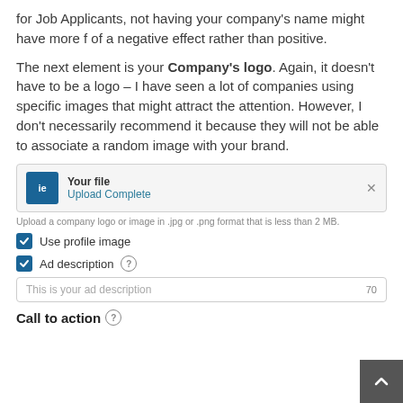for Job Applicants, not having your company's name might have more f of a negative effect rather than positive.
The next element is your Company's logo. Again, it doesn't have to be a logo – I have seen a lot of companies using specific images that might attract the attention. However, I don't necessarily recommend it because they will not be able to associate a random image with your brand.
[Figure (screenshot): File upload UI element showing 'Your file' label with 'Upload Complete' status in teal, with a close button, on a light grey background.]
Upload a company logo or image in .jpg or .png format that is less than 2 MB.
Use profile image
Ad description
[Figure (screenshot): Text input field with placeholder 'This is your ad description' and character count '70' on the right.]
Call to action